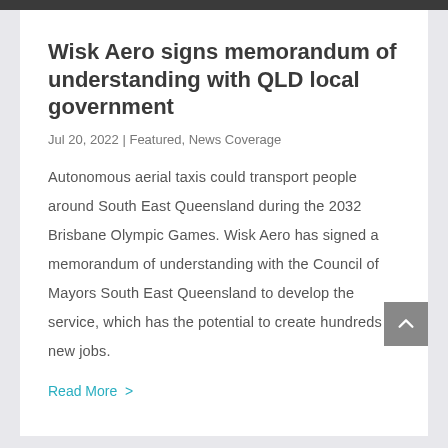Wisk Aero signs memorandum of understanding with QLD local government
Jul 20, 2022 | Featured, News Coverage
Autonomous aerial taxis could transport people around South East Queensland during the 2032 Brisbane Olympic Games. Wisk Aero has signed a memorandum of understanding with the Council of Mayors South East Queensland to develop the service, which has the potential to create hundreds of new jobs.
Read More >